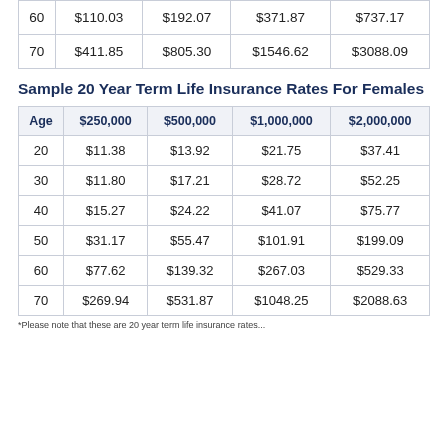| Age | $250,000 | $500,000 | $1,000,000 | $2,000,000 |
| --- | --- | --- | --- | --- |
| 60 | $110.03 | $192.07 | $371.87 | $737.17 |
| 70 | $411.85 | $805.30 | $1546.62 | $3088.09 |
Sample 20 Year Term Life Insurance Rates For Females
| Age | $250,000 | $500,000 | $1,000,000 | $2,000,000 |
| --- | --- | --- | --- | --- |
| 20 | $11.38 | $13.92 | $21.75 | $37.41 |
| 30 | $11.80 | $17.21 | $28.72 | $52.25 |
| 40 | $15.27 | $24.22 | $41.07 | $75.77 |
| 50 | $31.17 | $55.47 | $101.91 | $199.09 |
| 60 | $77.62 | $139.32 | $267.03 | $529.33 |
| 70 | $269.94 | $531.87 | $1048.25 | $2088.63 |
*Please note that these are 20 year term life insurance rates...